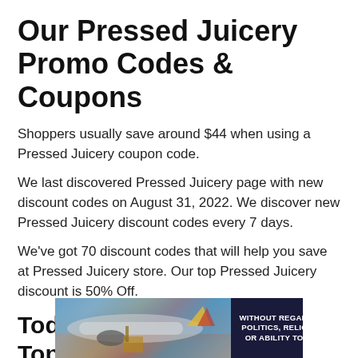Our Pressed Juicery Promo Codes & Coupons
Shoppers usually save around $44 when using a Pressed Juicery coupon code.
We last discovered Pressed Juicery page with new discount codes on August 31, 2022. We discover new Pressed Juicery discount codes every 7 days.
We've got 70 discount codes that will help you save at Pressed Juicery store. Our top Pressed Juicery discount is 50% Off.
Today's Pressed Juicery Top Offers:
• $10 Off With No Minimum Spend
• 10% Off Your Order
[Figure (photo): Advertisement banner showing an airplane being loaded with cargo on the left side, and a dark navy blue panel on the right with white bold text reading 'WITHOUT REGARD TO POLITICS, RELIGION, OR ABILITY TO PAY']